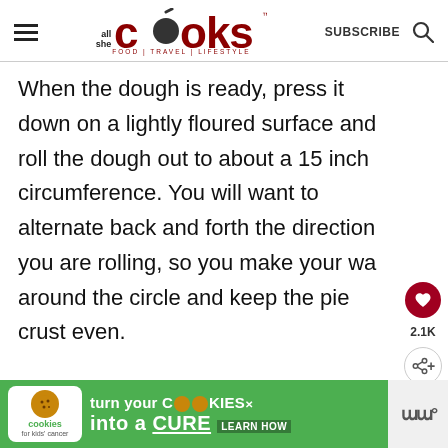all she cooks | FOOD | TRAVEL | LIFESTYLE | SUBSCRIBE
When the dough is ready, press it down on a lightly floured surface and roll the dough out to about a 15 inch circumference. You will want to alternate back and forth the direction you are rolling, so you make your way around the circle and keep the pie crust even.
[Figure (screenshot): Cookies for Kids Cancer advertisement banner: green background with white text 'turn your COOKIES into a CURE LEARN HOW']